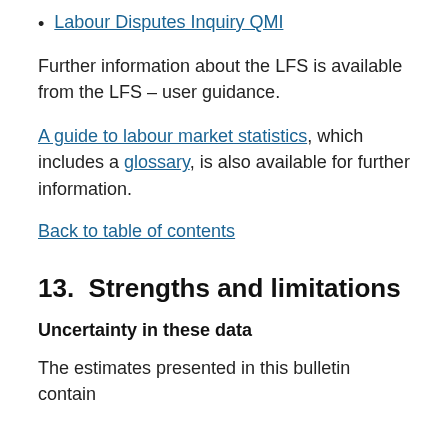Labour Disputes Inquiry QMI
Further information about the LFS is available from the LFS – user guidance.
A guide to labour market statistics, which includes a glossary, is also available for further information.
Back to table of contents
13.  Strengths and limitations
Uncertainty in these data
The estimates presented in this bulletin contain